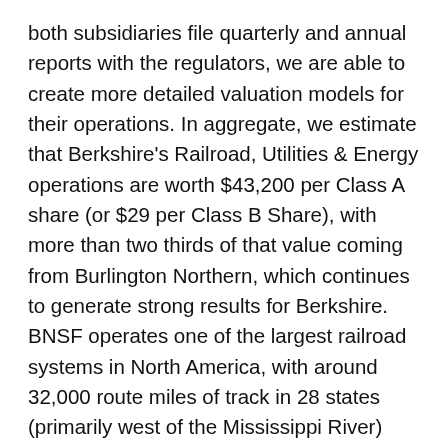both subsidiaries file quarterly and annual reports with the regulators, we are able to create more detailed valuation models for their operations. In aggregate, we estimate that Berkshire's Railroad, Utilities & Energy operations are worth $43,200 per Class A share (or $29 per Class B Share), with more than two thirds of that value coming from Burlington Northern, which continues to generate strong results for Berkshire. BNSF operates one of the largest railroad systems in North America, with around 32,000 route miles of track in 28 states (primarily west of the Mississippi River) and two Canadian provinces. During the last decade, the railroad has generated an 8% revenue CAGR and average operating margins of around 25%. The business has traditionally required at least $2 billion in capital expenditures annually, and carried a fair amount of debt on its books (leaving it with a WACC of